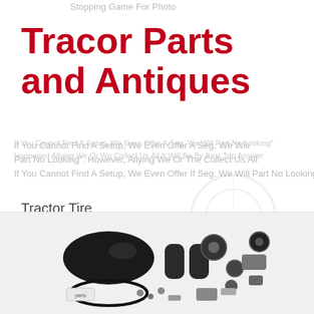Tracor Parts and Antiques
Tractor Tire
Tractor Part
Antique Tractor
Massey Ferguson Tractor
John Deere Tractor
Farm Tractor
[Figure (photo): Motorcycle or tractor parts and accessories laid out flat on white background, including a black fuel tank, handlebar grips, electrical components, cables and small hardware]